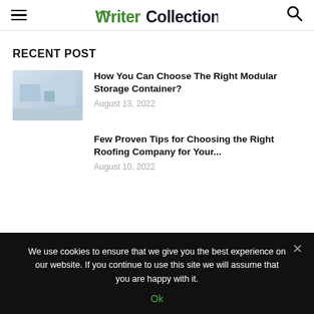WriterCollection
RECENT POST
[Figure (photo): Thumbnail image of a storage/room interior, light blue-grey tones]
How You Can Choose The Right Modular Storage Container?
August 13, 2022
Few Proven Tips for Choosing the Right Roofing Company for Your...
August 10, 2022
We use cookies to ensure that we give you the best experience on our website. If you continue to use this site we will assume that you are happy with it.
Ok